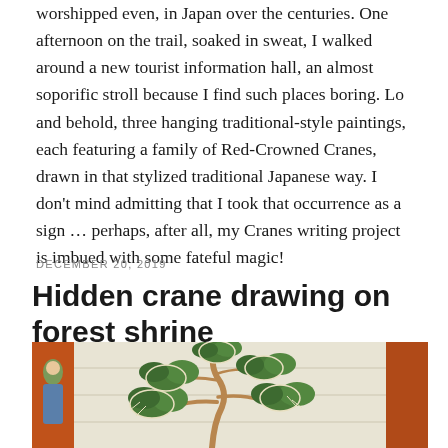worshipped even, in Japan over the centuries. One afternoon on the trail, soaked in sweat, I walked around a new tourist information hall, an almost soporific stroll because I find such places boring. Lo and behold, three hanging traditional-style paintings, each featuring a family of Red-Crowned Cranes, drawn in that stylized traditional Japanese way. I don't mind admitting that I took that occurrence as a sign … perhaps, after all, my Cranes writing project is imbued with some fateful magic!
DECEMBER 20, 2019
Hidden crane drawing on forest shrine
[Figure (photo): A traditional Japanese painting on a shrine showing a pine tree with green foliage painted in classical style, with orange/red shrine borders on either side and a figure visible on the left edge.]